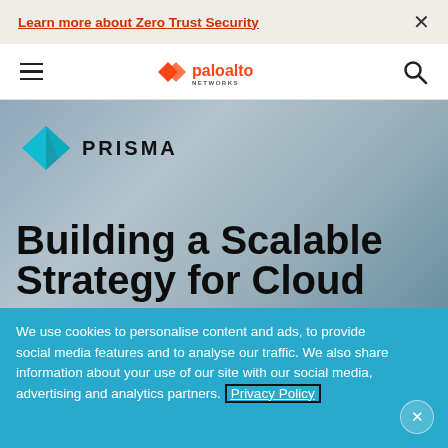Learn more about Zero Trust Security
[Figure (logo): Palo Alto Networks logo with orange chevron icon and 'paloalto NETWORKS' text]
[Figure (logo): Prisma brand logo with cyan triangular diamond shape and 'PRISMA' text]
Building a Scalable Strategy for Cloud
We use cookies to personalise content and ads, to provide social media features and to analyse our traffic. We also share information about your use of our site with our social media, advertising and analytics partners. Privacy Policy